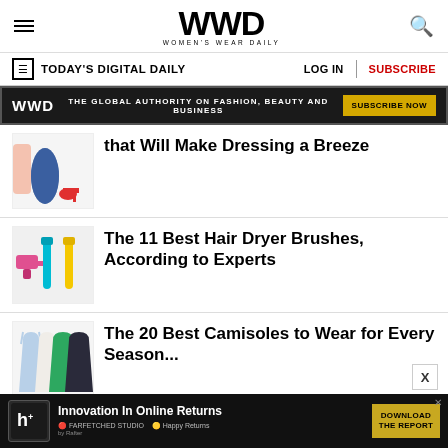WWD — WOMEN'S WEAR DAILY
TODAY'S DIGITAL DAILY
[Figure (screenshot): WWD ad banner: black background, WWD logo, 'THE GLOBAL AUTHORITY ON FASHION, BEAUTY AND BUSINESS', yellow SUBSCRIBE NOW button]
that Will Make Dressing a Breeze
The 11 Best Hair Dryer Brushes, According to Experts
The 20 Best Camisoles to Wear for Every Season...
[Figure (infographic): Bottom advertisement: Innovation In Online Returns, DOWNLOAD THE REPORT button]